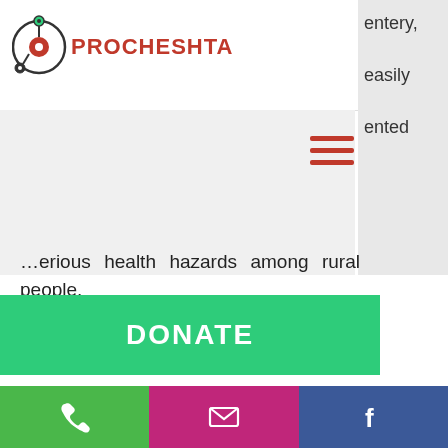[Figure (logo): PROCHESTA logo with circular graphic and red bold text]
entery, easily ented
[Figure (other): Hamburger menu icon with three red horizontal lines]
e time quate erious health hazards among rural people.
DONATE
In order to mitigate this problem at minimum level, PROCHESTA plans to establish primary healthcare centers to provide basic health education, treatment and medicines to poor villagers for free or with affordable charge. Since developing such new institutional infrastructures will essentially demand a massive
[Figure (other): Bottom toolbar with phone, email, and Facebook icons on green, pink, and blue backgrounds]